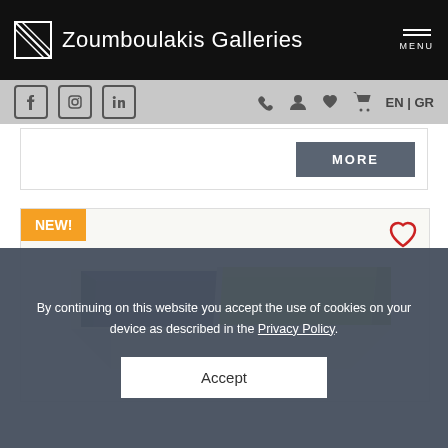Zoumboulakis Galleries
[Figure (screenshot): Navigation bar with social media icons (Facebook, Instagram, LinkedIn) and right-side icons (phone, user, heart, cart) with EN|GR language toggle]
[Figure (other): MORE button in dark grey on white product card background]
[Figure (photo): Product photo showing decorative trays with navy blue and lime green interior colors on white/cream base]
By continuing on this website you accept the use of cookies on your device as described in the Privacy Policy.
Accept